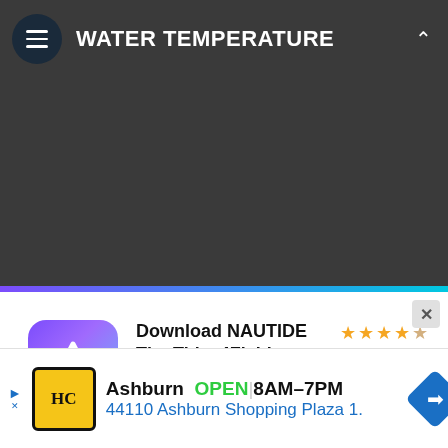WATER TEMPERATURE
[Figure (screenshot): App promotional card for NAUTIDE - The Tides4Fishing APP with 4.5 star rating, app icon, feature icons, and download buttons]
Download NAUTIDE The Tides4Fishing APP
tides, wind, surf, fish, solunar +
Now available
Ashburn OPEN 8AM–7PM 44110 Ashburn Shopping Plaza 1.